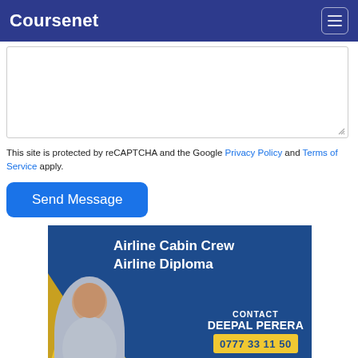Coursenet
[Figure (screenshot): Empty textarea input field with resize handle at bottom-right corner]
This site is protected by reCAPTCHA and the Google Privacy Policy and Terms of Service apply.
[Figure (other): Blue 'Send Message' button]
[Figure (infographic): Advertisement banner for Airline Cabin Crew Airline Diploma. Contact: DEEPAL PERERA, phone 0777 33 11 50. Shows woman in airline uniform with yellow/diagonal design elements on dark blue background.]